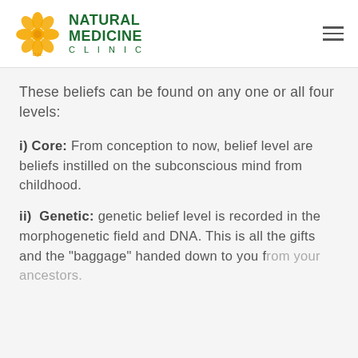Natural Medicine Clinic D.H.
These beliefs can be found on any one or all four levels:
i) Core: From conception to now, belief level are beliefs instilled on the subconscious mind from childhood.
ii) Genetic: genetic belief level is recorded in the morphogenetic field and DNA. This is all the gifts and the "baggage" handed down to you from your ancestors.